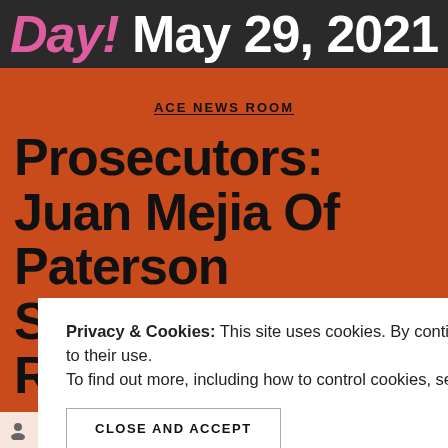Day! May 29, 2021
ACE NEWS ROOM
Prosecutors: Juan Mejia Of Paterson Secretly Recorded
Privacy & Cookies: This site uses cookies. By continuing to use this website, you agree to their use.
To find out more, including how to control cookies, see here: Cookie Policy
CLOSE AND ACCEPT
By Ace Worldwide News Group   May 29, 2021